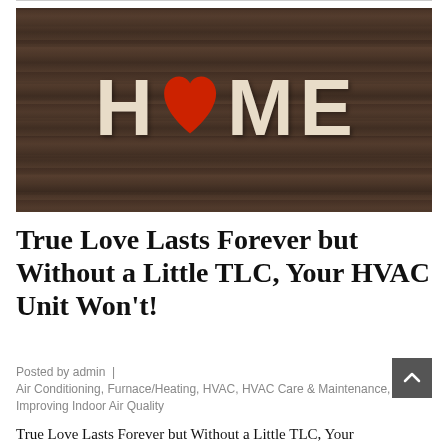[Figure (photo): Wooden plank background with large wooden block letters spelling HOME, with a red heart shape replacing the letter O. Letters are cream/beige colored on dark gray-brown wood planks.]
True Love Lasts Forever but Without a Little TLC, Your HVAC Unit Won't!
Posted by admin  |  Air Conditioning, Furnace/Heating, HVAC, HVAC Care & Maintenance, Improving Indoor Air Quality
True Love Lasts Forever but Without a Little TLC, Your